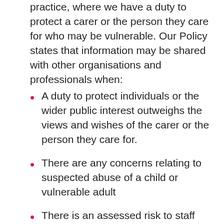practice, where we have a duty to protect a carer or the person they care for who may be vulnerable. Our Policy states that information may be shared with other organisations and professionals when:
A duty to protect individuals or the wider public interest outweighs the views and wishes of the carer or the person they care for.
There are any concerns relating to suspected abuse of a child or vulnerable adult
There is an assessed risk to staff that should be noted to Care for the Carers or